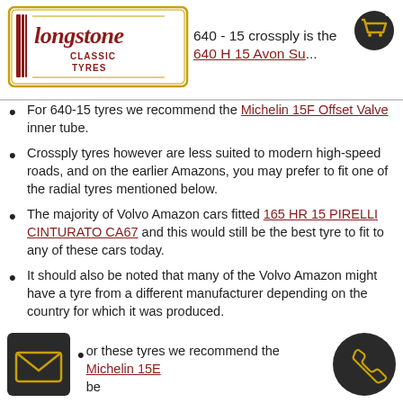[Figure (logo): Longstone Classic Tyres logo with decorative border]
640 - 15 crossply is the 640 H 15 Avon Su...
[Figure (illustration): Shopping cart icon in gold on dark circle, top right]
For 640-15 tyres we recommend the Michelin 15F Offset Valve inner tube.
Crossply tyres however are less suited to modern high-speed roads, and on the earlier Amazons, you may prefer to fit one of the radial tyres mentioned below.
The majority of Volvo Amazon cars fitted 165 HR 15 PIRELLI CINTURATO CA67 and this would still be the best tyre to fit to any of these cars today.
It should also be noted that many of the Volvo Amazon might have a tyre from a different manufacturer depending on the country for which it was produced.
For an alternate option Michelin also produce a 165 SR 15 Michelin XZX which is also a great tyre to fit to an Amazon and the price is exceptionally good, but it does have a lower speed rating than the CINTURATO.
or these tyres we recommend the Michelin 15E... be...
[Figure (illustration): Email envelope icon in gold on dark rectangle, bottom left]
[Figure (illustration): Phone handset icon in gold on dark circle, bottom right]